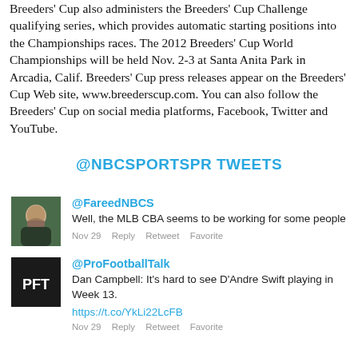Breeders' Cup also administers the Breeders' Cup Challenge qualifying series, which provides automatic starting positions into the Championships races. The 2012 Breeders' Cup World Championships will be held Nov. 2-3 at Santa Anita Park in Arcadia, Calif. Breeders' Cup press releases appear on the Breeders' Cup Web site, www.breederscup.com. You can also follow the Breeders' Cup on social media platforms, Facebook, Twitter and YouTube.
@NBCSPORTSPR TWEETS
[Figure (photo): Profile photo of @FareedNBCS - man with beard]
@FareedNBCS Well, the MLB CBA seems to be working for some people Nov 29 Reply Retweet Favorite
[Figure (logo): PFT logo for @ProFootballTalk]
@ProFootballTalk Dan Campbell: It's hard to see D'Andre Swift playing in Week 13. https://t.co/YkLi22LcFB Nov 29 Reply Retweet Favorite